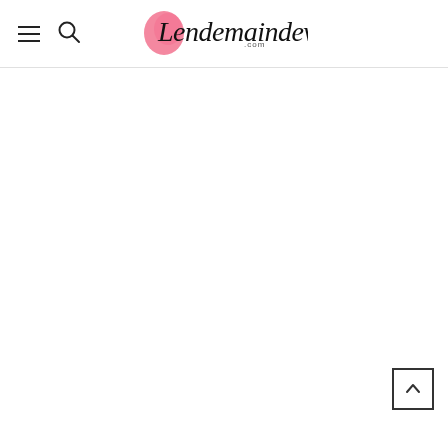Lendemaindeveille.com — website header with logo, hamburger menu, and search icon
[Figure (logo): Lendemaindeveille.com logo in cursive script with a pink watercolor circle accent on the left]
[Figure (other): Back to top button — square with an upward chevron arrow]